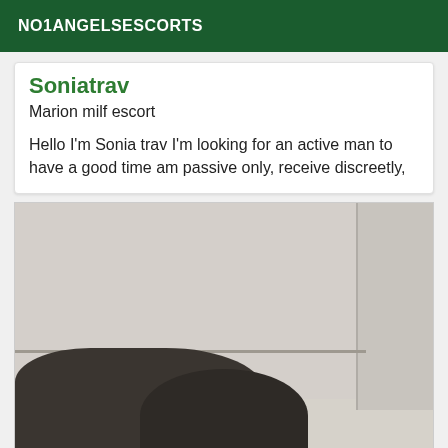NO1ANGELSESCORTS
Soniatrav
Marion milf escort
Hello I'm Sonia trav I'm looking for an active man to have a good time am passive only, receive discreetly,
[Figure (photo): A photo taken indoors showing a textured ceiling and wall on the right side, with a dark-clothed figure visible at the bottom of the frame.]